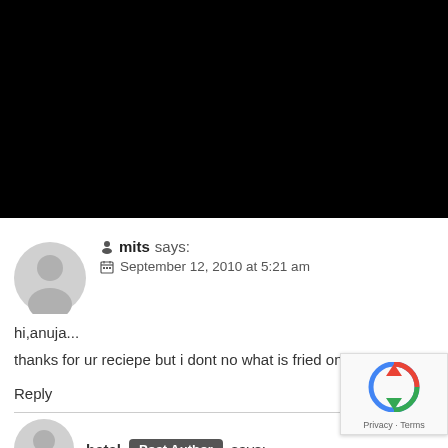[Figure (photo): Large black rectangle occupying top half of page (black background / image area)]
mits says:
September 12, 2010 at 5:21 am
hi,anuja...
thanks for ur reciepe but i dont no what is fried onion....
Reply
hetal Post Author says: